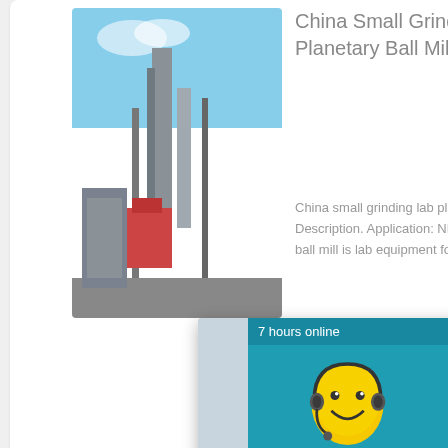[Figure (photo): Industrial plant with blue sky, metallic towers and red structures]
China Small Grinding Lab Planetary Ball Mill - China Lab ...
China small grinding lab planetary ball mill . Product Description. Application: NBQM series planetary ball mill is lab equipment for ...
[Figure (photo): Live Chat popup banner showing workers in yellow hard hats. Text: LIVE CHAT, Click for a Free Consultation. Buttons: Chat now, Chat later.]
[Figure (other): Right-side teal live chat panel with smiley face emoji with headset. Text: 7 hours online, Click me to chat >>. Sections: Enquiry, superbrian707@gm...]
More
[Figure (photo): Industrial building with blue sky background, partially visible]
China Small El... Surface Grinding...